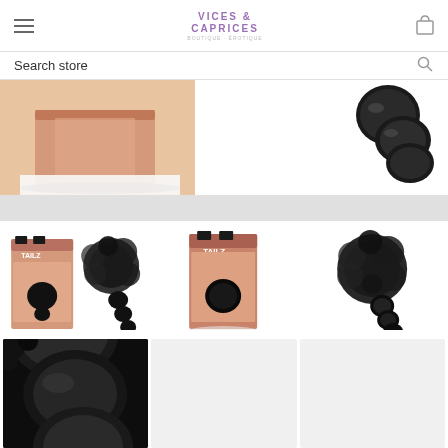Vices & Caprices - Boutique header with hamburger menu and cart icon
Search store
[Figure (photo): Partial view of adult product packaging with skin-toned imagery, left side cropped]
[Figure (photo): Partial view of a black ribbed toy, right side cropped]
[Figure (photo): Adult toy product shown with packaging box featuring TAILZ branding - includes black fluffy tail and black ribbed plug]
[Figure (photo): Adult toy product packaging box with TAILZ branding showing product in use]
[Figure (photo): Close-up of black fluffy pom-pom tail adult toy with ribbed plug, no packaging]
[Figure (photo): Close-up macro shot of black ribbed plug portion of adult tail toy]